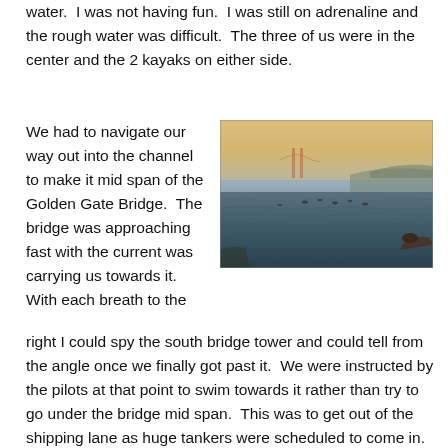water.  I was not having fun.  I was still on adrenaline and the rough water was difficult.  The three of us were in the center and the 2 kayaks on either side.
We had to navigate our way out into the channel to make it mid span of the Golden Gate Bridge.  The bridge was approaching fast with the current was carrying us towards it.  With each breath to the right I could spy the south bridge tower and could tell from the angle once we finally got past it.  We were instructed by the pilots at that point to swim towards it rather than try to go under the bridge mid span.  This was to get out of the shipping lane as huge tankers were scheduled to come in.  The Coast Guard was keeping in communication with our chief pilot helping to guide us.  It takes a lot of people to pull
[Figure (photo): Outdoor photo showing open water with swimmers visible in the middle distance, and the Golden Gate Bridge tower faintly visible on the horizon against a hazy sky. A person in a kayak or swimmer is visible in the foreground right.]